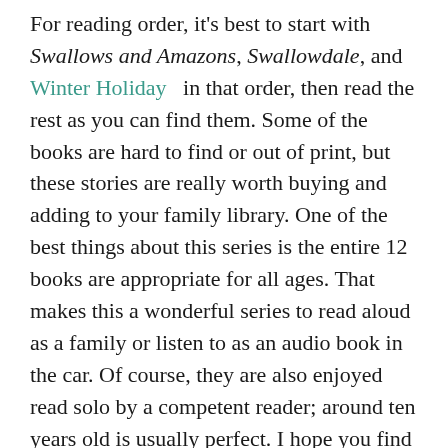For reading order, it's best to start with Swallows and Amazons, Swallowdale, and Winter Holiday in that order, then read the rest as you can find them. Some of the books are hard to find or out of print, but these stories are really worth buying and adding to your family library. One of the best things about this series is the entire 12 books are appropriate for all ages. That makes this a wonderful series to read aloud as a family or listen to as an audio book in the car. Of course, they are also enjoyed read solo by a competent reader; around ten years old is usually perfect. I hope you find and enjoy these marvelous children's classics!